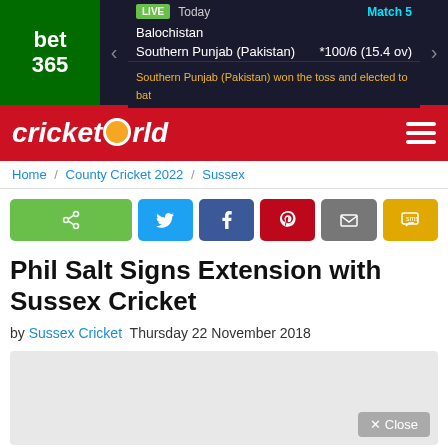[Figure (screenshot): Bet365 live cricket scoreboard banner showing Balochistan vs Southern Punjab (Pakistan), Match 5, score *100/6 (15.4 ov), toss message]
cricketworld
Home / County Cricket 2022 / Sussex
[Figure (other): Social share buttons: share, Twitter, Facebook, Pinterest, Email, SMS]
Phil Salt Signs Extension with Sussex Cricket
by Sussex Cricket  Thursday 22 November 2018
[Figure (other): Advertisement placeholder with Close button]